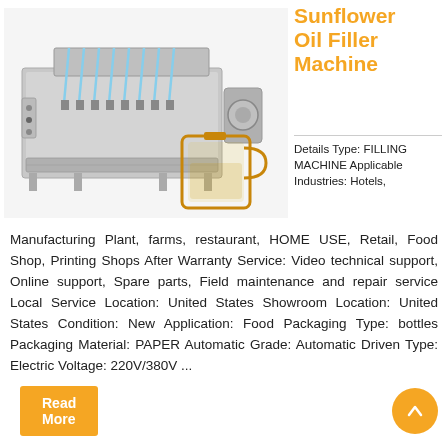Sunflower Oil Filler Machine
Details Type: FILLING MACHINE Applicable Industries: Hotels,
[Figure (photo): Industrial sunflower oil filling machine with multiple filling nozzles, stainless steel body, with a large oil container/jug in the foreground.]
Manufacturing Plant, farms, restaurant, HOME USE, Retail, Food Shop, Printing Shops After Warranty Service: Video technical support, Online support, Spare parts, Field maintenance and repair service Local Service Location: United States Showroom Location: United States Condition: New Application: Food Packaging Type: bottles Packaging Material: PAPER Automatic Grade: Automatic Driven Type: Electric Voltage: 220V/380V ...
Read More